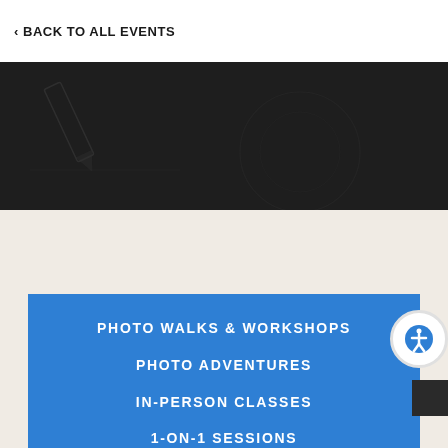‹ BACK TO ALL EVENTS
[Figure (illustration): Dark background banner with faint outline illustrations of photography equipment (camera, lens, circle) on a near-black background]
PHOTO WALKS & WORKSHOPS
PHOTO ADVENTURES
IN-PERSON CLASSES
1-ON-1 SESSIONS
ONLINE COURSES
BUY PREVIOUS COURSES